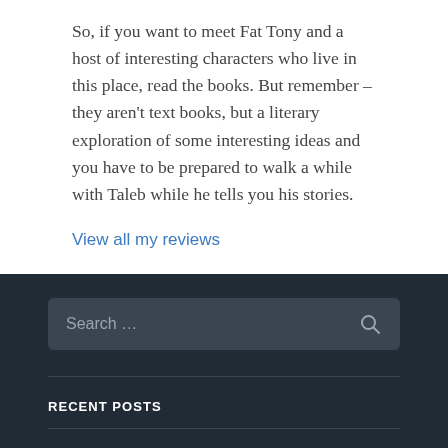So, if you want to meet Fat Tony and a host of interesting characters who live in this place, read the books. But remember – they aren't text books, but a literary exploration of some interesting ideas and you have to be prepared to walk a while with Taleb while he tells you his stories.
View all my reviews
Search ...
RECENT POSTS